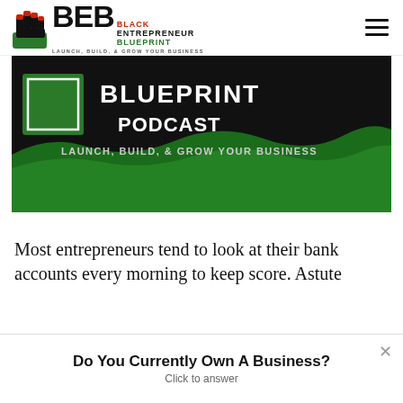[Figure (logo): Black Entrepreneur Blueprint logo with fist icon, BEB letters, tagline LAUNCH, BUILD, & GROW YOUR BUSINESS]
[Figure (photo): Black Entrepreneur Blueprint Podcast banner with text BLUEPRINT PODCAST LAUNCH, BUILD, & GROW YOUR BUSINESS on dark background with green wave]
Most entrepreneurs tend to look at their bank accounts every morning to keep score. Astute
Do You Currently Own A Business?
Click to answer